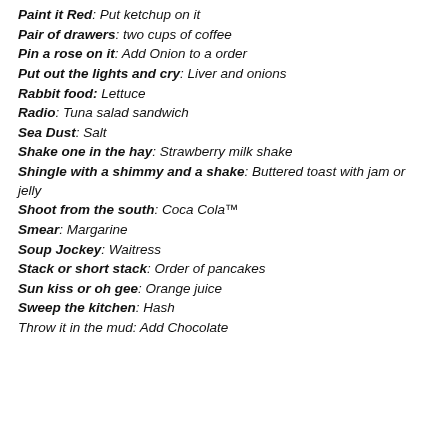Paint it Red: Put ketchup on it
Pair of drawers: two cups of coffee
Pin a rose on it: Add Onion to a order
Put out the lights and cry: Liver and onions
Rabbit food: Lettuce
Radio: Tuna salad sandwich
Sea Dust: Salt
Shake one in the hay: Strawberry milk shake
Shingle with a shimmy and a shake: Buttered toast with jam or jelly
Shoot from the south: Coca Cola™
Smear: Margarine
Soup Jockey: Waitress
Stack or short stack: Order of pancakes
Sun kiss or oh gee: Orange juice
Sweep the kitchen: Hash
Throw it in the mud: Add Chocolate